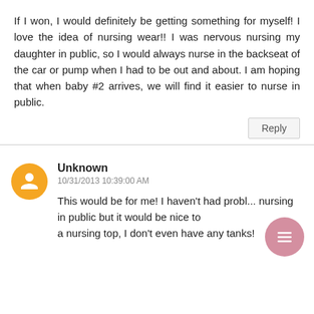If I won, I would definitely be getting something for myself! I love the idea of nursing wear!! I was nervous nursing my daughter in public, so I would always nurse in the backseat of the car or pump when I had to be out and about. I am hoping that when baby #2 arrives, we will find it easier to nurse in public.
Reply
Unknown
10/31/2013 10:39:00 AM
This would be for me! I haven't had prob... nursing in public but it would be nice to... a nursing top, I don't even have any tanks!